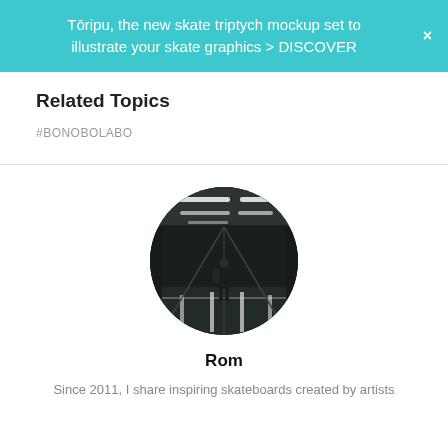Tōripu, the new skate triptych mockup set to illustrate your skate graphics > DISCOVER
Related Topics
#BONOBOLABO
[Figure (photo): Circular profile photo of a person standing alone in a large dark parking garage with fluorescent ceiling lights]
Rom
Since 2011, I share inspiring skateboards created by artists